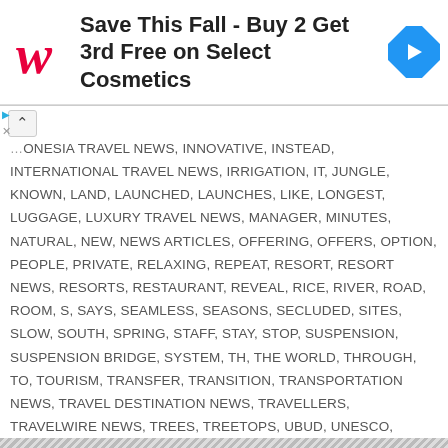[Figure (screenshot): Walgreens advertisement banner: red cursive W logo, bold text 'Save This Fall - Buy 2 Get 3rd Free on Select Cosmetics', blue diamond navigation arrow icon]
ONESIA TRAVEL NEWS, INNOVATIVE, INSTEAD, INTERNATIONAL TRAVEL NEWS, IRRIGATION, IT, JUNGLE, KNOWN, LAND, LAUNCHED, LAUNCHES, LIKE, LONGEST, LUGGAGE, LUXURY TRAVEL NEWS, MANAGER, MINUTES, NATURAL, NEW, NEWS ARTICLES, OFFERING, OFFERS, OPTION, PEOPLE, PRIVATE, RELAXING, REPEAT, RESORT, RESORT NEWS, RESORTS, RESTAURANT, REVEAL, RICE, RIVER, ROAD, ROOM, S, SAYS, SEAMLESS, SEASONS, SECLUDED, SITES, SLOW, SOUTH, SPRING, STAFF, STAY, STOP, SUSPENSION, SUSPENSION BRIDGE, SYSTEM, TH, THE WORLD, THROUGH, TO, TOURISM, TRANSFER, TRANSITION, TRANSPORTATION NEWS, TRAVEL DESTINATION NEWS, TRAVELLERS, TRAVELWIRE NEWS, TREES, TREETOPS, UBUD, UNESCO, UNESCO WORLD HERITAGE, USUAL, VALLEY, VIEW, VIEWS, WELCOMED, WEST, WEST COAST, WHO, WONDER, WORLD, WORLD HERITAGE, WORLD NEWS